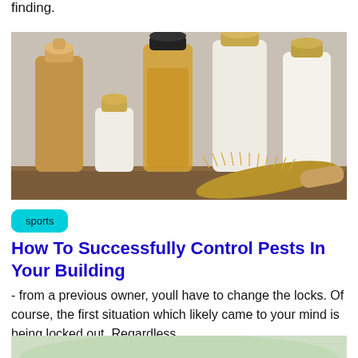finding.
[Figure (photo): Several shampoo and conditioner bottles of varying heights in cream, white, and tan colors with black and gold caps, arranged on a wooden surface alongside a gold bristle hairbrush.]
sports
How To Successfully Control Pests In Your Building
- from a previous owner, youll have to change the locks. Of course, the first situation which likely came to your mind is being locked out. Regardless
[Figure (photo): Partial view of a green/nature themed image at the bottom of the page.]